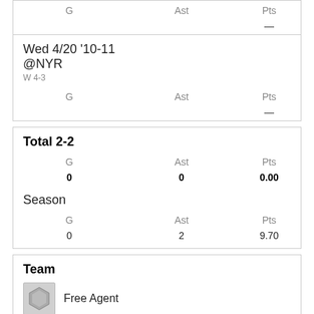| G | Ast | Pts |
| --- | --- | --- |
|  |  | — |
Wed 4/20 '10-11
@NYR
W 4-3
| G | Ast | Pts |
| --- | --- | --- |
|  |  | — |
Total  2-2
| G | Ast | Pts |
| --- | --- | --- |
| 0 | 0 | 0.00 |
Season
| G | Ast | Pts |
| --- | --- | --- |
| 0 | 2 | 9.70 |
Team
Free Agent